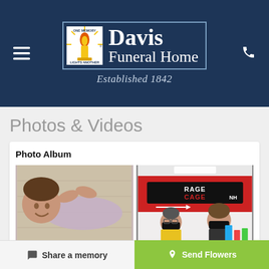[Figure (logo): Davis Funeral Home logo with flame icon, established 1842]
Photos & Videos
Photo Album
[Figure (photo): Young boy lying on floor smiling, wearing light purple shirt]
[Figure (photo): People at Rage Cage NH wearing black masks]
Share a memory
Send Flowers